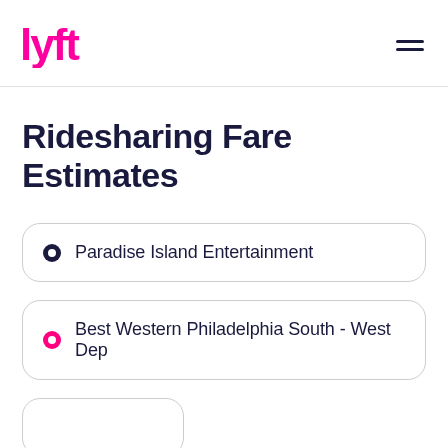Lyft logo and navigation menu
Ridesharing Fare Estimates
Paradise Island Entertainment
Best Western Philadelphia South - West Dep
[Figure (other): Partially visible pill-shaped button at bottom of screen]